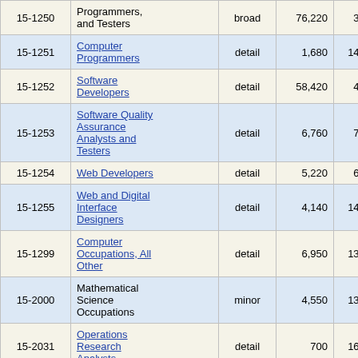| SOC Code | Occupation Title | Level | Employment | % Change |
| --- | --- | --- | --- | --- |
| 15-1250 | Software Developers, Programmers, and Testers | broad | 76,220 | 3.7% |
| 15-1251 | Computer Programmers | detail | 1,680 | 14.8% |
| 15-1252 | Software Developers | detail | 58,420 | 4.0% |
| 15-1253 | Software Quality Assurance Analysts and Testers | detail | 6,760 | 7.8% |
| 15-1254 | Web Developers | detail | 5,220 | 6.9% |
| 15-1255 | Web and Digital Interface Designers | detail | 4,140 | 14.8% |
| 15-1299 | Computer Occupations, All Other | detail | 6,950 | 13.9% |
| 15-2000 | Mathematical Science Occupations | minor | 4,550 | 13.5% |
| 15-2031 | Operations Research Analysts | detail | 700 | 16.4% |